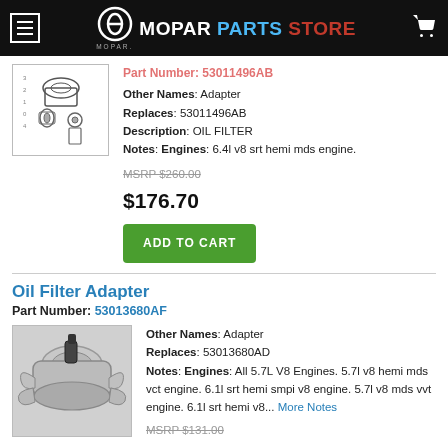MOPAR PARTS STORE
[Figure (photo): Oil filter adapter parts diagram on white background]
Other Names: Adapter
Replaces: 53011496AB
Description: OIL FILTER
Notes: Engines: 6.4l v8 srt hemi mds engine.
MSRP $260.00
$176.70
ADD TO CART
Oil Filter Adapter
Part Number: 53013680AF
[Figure (photo): Oil filter adapter photo on grey background]
Other Names: Adapter
Replaces: 53013680AD
Notes: Engines: All 5.7L V8 Engines. 5.7l v8 hemi mds vct engine. 6.1l srt hemi smpi v8 engine. 5.7l v8 mds vvt engine. 6.1l srt hemi v8... More Notes
MSRP $131.00